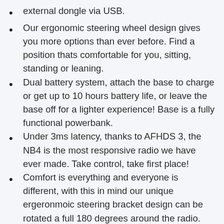external dongle via USB.
Our ergonomic steering wheel design gives you more options than ever before. Find a position thats comfortable for you, sitting, standing or leaning.
Dual battery system, attach the base to charge or get up to 10 hours battery life, or leave the base off for a lighter experience! Base is a fully functional powerbank.
Under 3ms latency, thanks to AFHDS 3, the NB4 is the most responsive radio we have ever made. Take control, take first place!
Comfort is everything and everyone is different, with this in mind our unique ergeronmoic steering bracket design can be rotated a full 180 degrees around the radio.